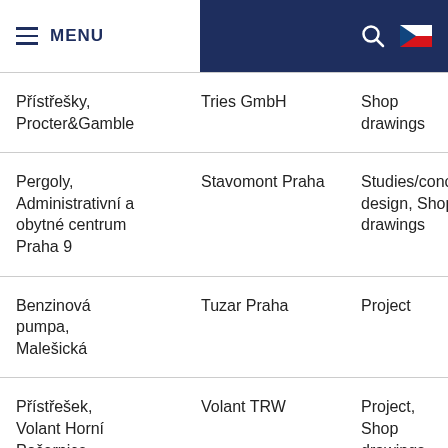MENU | Search | CZ flag
| Project | Company | Service |
| --- | --- | --- |
| Přístřešky, Procter&Gamble | Tries GmbH | Shop drawings |
| Pergoly, Administrativní a obytné centrum Praha 9 | Stavomont Praha | Studies/conceptual design, Shop drawings |
| Benzinová pumpa, Malešická | Tuzar Praha | Project |
| Přístřešek, Volant Horní Počernice | Volant TRW | Project, Shop drawings |